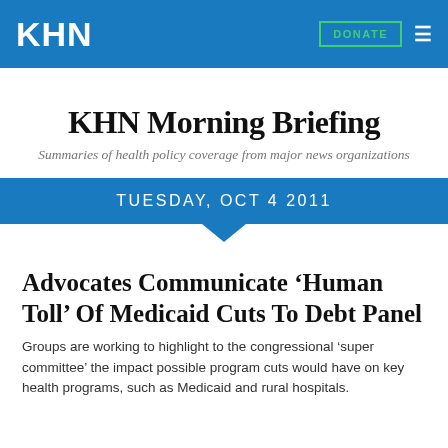KHN
KHN Morning Briefing
Summaries of health policy coverage from major news organizations
TUESDAY, OCT 4 2011
Advocates Communicate ‘Human Toll’ Of Medicaid Cuts To Debt Panel
Groups are working to highlight to the congressional ‘super committee’ the impact possible program cuts would have on key health programs, such as Medicaid and rural hospitals.